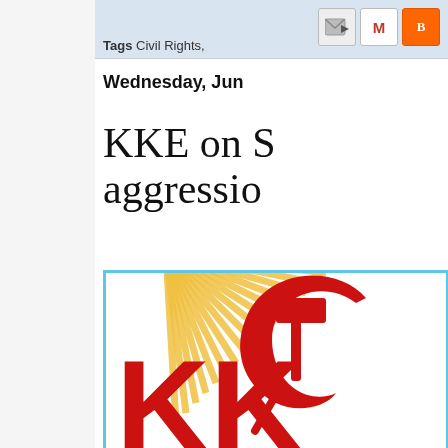Tags Civil Rights,
Wednesday, Jun
KKE on S... aggressio...
[Figure (logo): KKE (Greek Communist Party) logo with hammer and sickle symbol in red, radiating golden sun rays on white background, inside a blue border, with red letters KKE at the bottom]